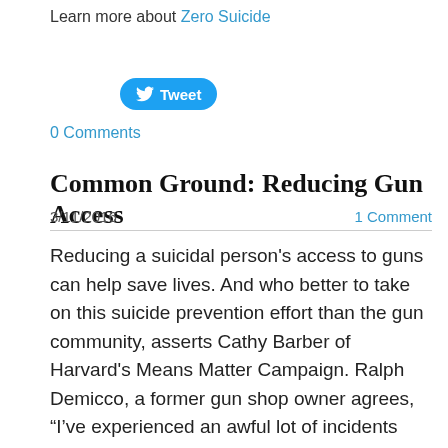Learn more about Zero Suicide
[Figure (other): Twitter Tweet button (blue pill-shaped button with bird icon and 'Tweet' text)]
0 Comments
Common Ground: Reducing Gun Access
3/11/2016   1 Comment
Reducing a suicidal person's access to guns can help save lives. And who better to take on this suicide prevention effort than the gun community, asserts Cathy Barber of Harvard's Means Matter Campaign. Ralph Demicco, a former gun shop owner agrees, “I’ve experienced an awful lot of incidents where friends, customers, and acquaintances have taken their lives with firearms, so it's a very striking issue to me.” Barber,